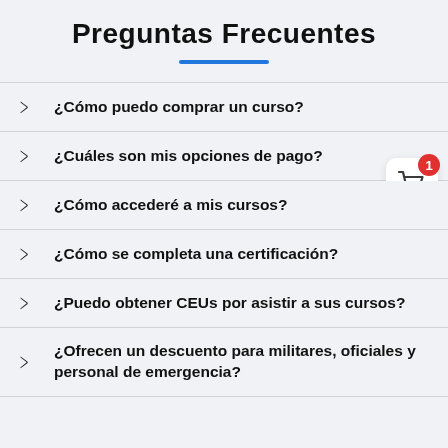Preguntas Frecuentes
¿Cómo puedo comprar un curso?
¿Cuáles son mis opciones de pago?
¿Cómo accederé a mis cursos?
¿Cómo se completa una certificación?
¿Puedo obtener CEUs por asistir a sus cursos?
¿Ofrecen un descuento para militares, oficiales y personal de emergencia?